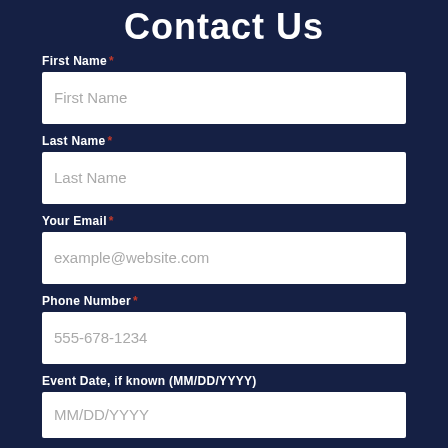Contact Us
First Name *
First Name
Last Name *
Last Name
Your Email *
example@website.com
Phone Number *
555-678-1234
Event Date, if known (MM/DD/YYYY)
MM/DD/YYYY